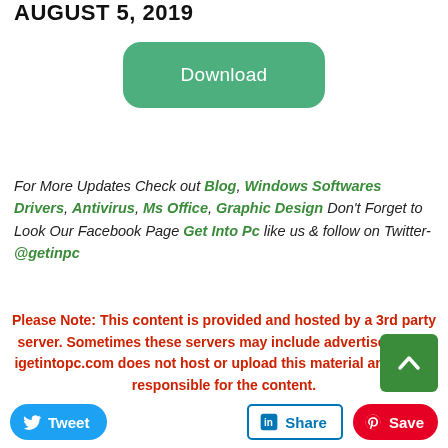AUGUST 5, 2019
[Figure (other): Green Download button]
For More Updates Check out Blog, Windows Softwares Drivers, Antivirus, Ms Office, Graphic Design Don't Forget to Look Our Facebook Page Get Into Pc like us & follow on Twitter- @getinpc
Please Note: This content is provided and hosted by a 3rd party server. Sometimes these servers may include advertisements. igetintopc.com does not host or upload this material and is not responsible for the content.
[Figure (other): Scroll to top green button with upward chevron arrow]
[Figure (other): Social sharing bar with Tweet, Share (LinkedIn), and Save (Pinterest) buttons]